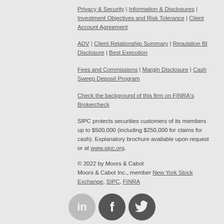Privacy & Security | Information & Disclosures | Investment Objectives and Risk Tolerance | Client Account Agreement
ADV | Client Relationship Summary | Regulation BI Disclosure | Best Execution
Fees and Commissions | Margin Disclosure | Cash Sweep Deposit Program
Check the background of this firm on FINRA's Brokercheck
SIPC protects securities customers of its members up to $500,000 (including $250,000 for claims for cash). Explanatory brochure available upon request or at www.sipc.org.
© 2022 by Moors & Cabot
Moors & Cabot Inc., member New York Stock Exchange, SIPC, FINRA
[Figure (illustration): Three social media icons: LinkedIn (blurred/grey), Facebook (dark grey circle with f), Twitter (dark grey circle with bird icon)]
[Figure (logo): Moors & Cabot M & C logo with EST. 1890 text below]